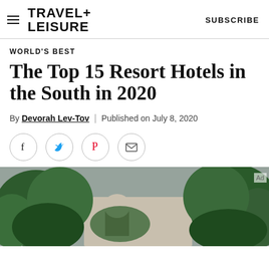TRAVEL+ LEISURE | SUBSCRIBE
WORLD'S BEST
The Top 15 Resort Hotels in the South in 2020
By Devorah Lev-Tov | Published on July 8, 2020
[Figure (infographic): Social sharing icons: Facebook, Twitter, Pinterest, Email]
[Figure (photo): Exterior photo of a hotel or resort building partially obscured by large green trees, overcast sky in background]